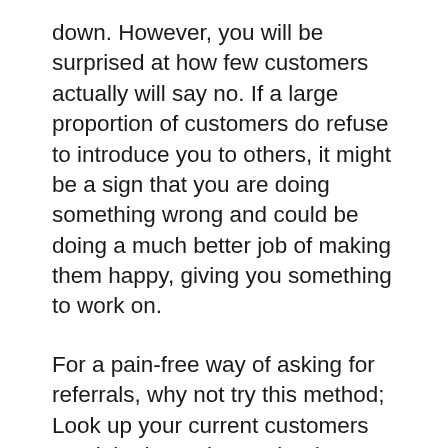down. However, you will be surprised at how few customers actually will say no. If a large proportion of customers do refuse to introduce you to others, it might be a sign that you are doing something wrong and could be doing a much better job of making them happy, giving you something to work on.
For a pain-free way of asking for referrals, why not try this method; Look up your current customers on LinkedIn and see who they are connected with. If you think someone that they know can personally benefit from your product or service, ask them for an introduction.
Most, if not all will say yes, especially if you